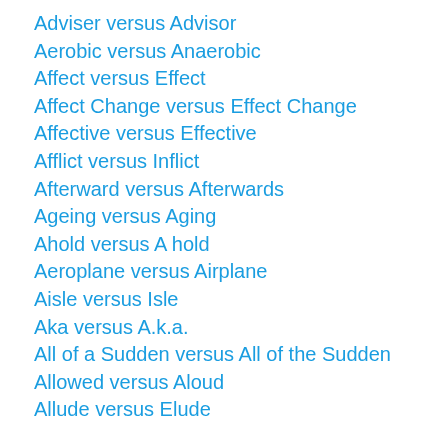Adviser versus Advisor
Aerobic versus Anaerobic
Affect versus Effect
Affect Change versus Effect Change
Affective versus Effective
Afflict versus Inflict
Afterward versus Afterwards
Ageing versus Aging
Ahold versus A hold
Aeroplane versus Airplane
Aisle versus Isle
Aka versus A.k.a.
All of a Sudden versus All of the Sudden
Allowed versus Aloud
Allude versus Elude